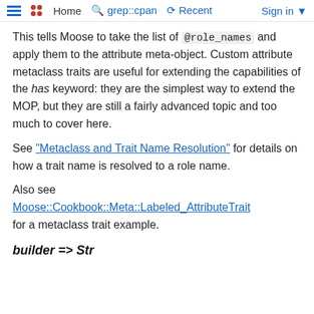Home  grep::cpan  Recent  Sign in
This tells Moose to take the list of @role_names and apply them to the attribute meta-object. Custom attribute metaclass traits are useful for extending the capabilities of the has keyword: they are the simplest way to extend the MOP, but they are still a fairly advanced topic and too much to cover here.
See "Metaclass and Trait Name Resolution" for details on how a trait name is resolved to a role name.
Also see Moose::Cookbook::Meta::Labeled_AttributeTrait for a metaclass trait example.
builder => Str